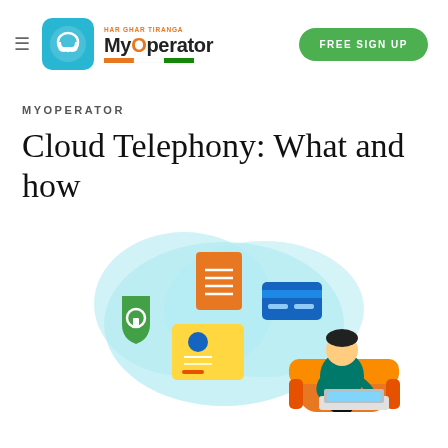MyOperator — FREE SIGN UP
MYOPERATOR
Cloud Telephony: What and how
[Figure (illustration): Illustration of a person sitting in an orange armchair using a laptop, with a teal cloud behind showing floating icons: a document, a credit/debit card, and a green security/lock shield, and a yellow ID/profile card in the foreground.]